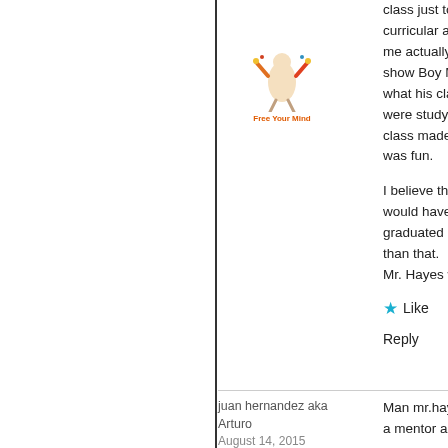[Figure (logo): Free Your Mind logo - colorful figure with raised arms]
class just to be there and extra curricular activities...me actually get s...show Boy Meets...what his class re...were studying it w...class made you r...was fun.

I believe that if he...would have done...graduated in the...than that.
Mr. Hayes will alw...
Like
Reply
juan hernandez aka Arturo
August 14, 2015
Man mr.hays was...a mentor an frien...